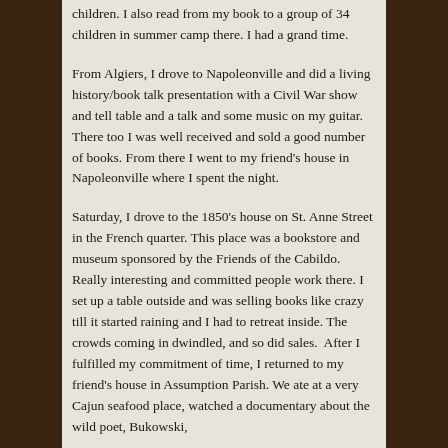children. I also read from my book to a group of 34 children in summer camp there. I had a grand time.
From Algiers, I drove to Napoleonville and did a living history/book talk presentation with a Civil War show and tell table and a talk and some music on my guitar. There too I was well received and sold a good number of books. From there I went to my friend's house in Napoleonville where I spent the night.
Saturday, I drove to the 1850's house on St. Anne Street in the French quarter. This place was a bookstore and museum sponsored by the Friends of the Cabildo. Really interesting and committed people work there. I set up a table outside and was selling books like crazy till it started raining and I had to retreat inside. The crowds coming in dwindled, and so did sales.  After I fulfilled my commitment of time, I returned to my friend's house in Assumption Parish. We ate at a very Cajun seafood place, watched a documentary about the wild poet, Bukowski,